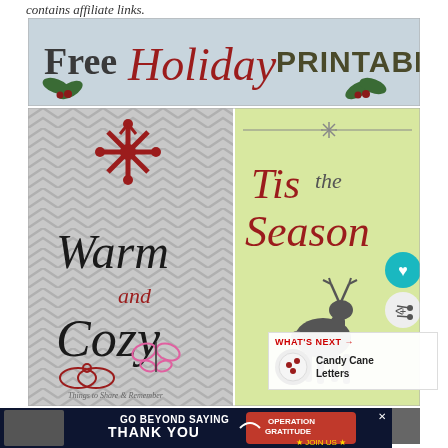contains affiliate links.
[Figure (illustration): Free Holiday Printables banner with holly leaves, red berries, and decorative script and serif text on light blue-gray background]
[Figure (illustration): Left panel: chevron gray background with red snowflake and script text 'Warm and Cozy' with decorative red swirls and pink butterfly. Right panel: light yellow-green background with snowflake ornament, red script 'Tis the Season', silhouette of deer, and 'Things to Share & Remember' watermark]
[Figure (illustration): What's Next arrow callout: Candy Cane Letters with small circular preview image]
[Figure (illustration): Bottom strip showing partial holiday printable images — left panel light gray, right panel dark gray with snowflake]
[Figure (illustration): Advertisement banner: 'GO BEYOND SAYING THANK YOU' with Operation Gratitude logo and JOIN US button, dark navy background]